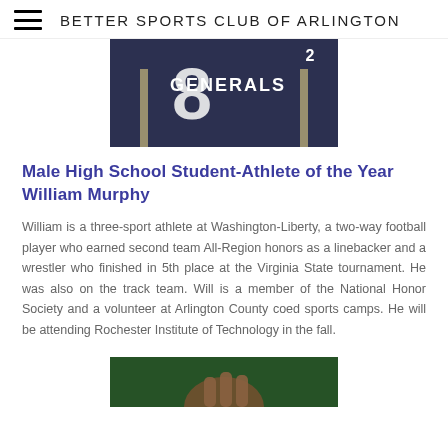BETTER SPORTS CLUB OF ARLINGTON
[Figure (photo): Close-up photo of a football jersey with number 8 and 'GENERALS' text on navy blue uniform]
Male High School Student-Athlete of the Year William Murphy
William is a three-sport athlete at Washington-Liberty, a two-way football player who earned second team All-Region honors as a linebacker and a wrestler who finished in 5th place at the Virginia State tournament. He was also on the track team. Will is a member of the National Honor Society and a volunteer at Arlington County coed sports camps. He will be attending Rochester Institute of Technology in the fall.
[Figure (photo): Partial photo at bottom of page showing a person with green background, cropped]